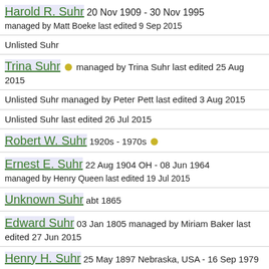Harold R. Suhr 20 Nov 1909 - 30 Nov 1995 managed by Matt Boeke last edited 9 Sep 2015
Unlisted Suhr
Trina Suhr • managed by Trina Suhr last edited 25 Aug 2015
Unlisted Suhr managed by Peter Pett last edited 3 Aug 2015
Unlisted Suhr last edited 26 Jul 2015
Robert W. Suhr 1920s - 1970s •
Ernest E. Suhr 22 Aug 1904 OH - 08 Jun 1964 managed by Henry Queen last edited 19 Jul 2015
Unknown Suhr abt 1865
Edward Suhr 03 Jan 1805 managed by Miriam Baker last edited 27 Jun 2015
Henry H. Suhr 25 May 1897 Nebraska, USA - 16 Sep 1979 managed by Philip Smith last edited 21 Jun 2015